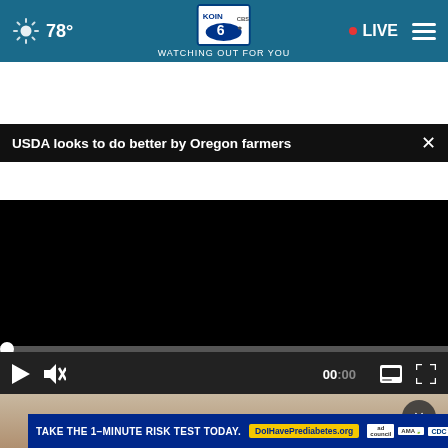[Figure (screenshot): KOIN 6 CBS news website navigation bar showing weather (78°), KOIN 6 CBS logo with 'WATCHING OUT FOR YOU' tagline, LIVE button, and hamburger menu]
USDA looks to do better by Oregon farmers
[Figure (screenshot): Black video player with progress bar, play button, mute button, 00:00 timestamp, captions button, and fullscreen button]
[Figure (screenshot): Advertisement: TAKE THE 1-MINUTE RISK TEST TODAY. DolHavePrediabetes.org with ad council, AMA, and CDC logos]